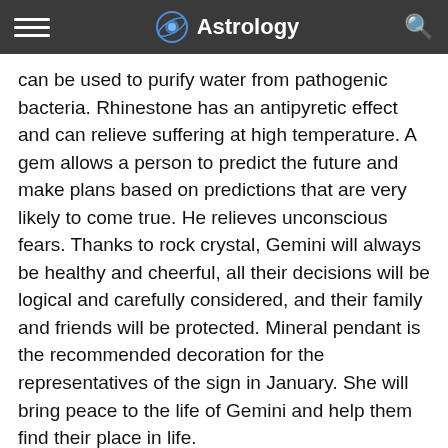Astrology
can be used to purify water from pathogenic bacteria. Rhinestone has an antipyretic effect and can relieve suffering at high temperature. A gem allows a person to predict the future and make plans based on predictions that are very likely to come true. He relieves unconscious fears. Thanks to rock crystal, Gemini will always be healthy and cheerful, all their decisions will be logical and carefully considered, and their family and friends will be protected. Mineral pendant is the recommended decoration for the representatives of the sign in January. She will bring peace to the life of Gemini and help them find their place in life.
January gemstone for Cancer ♋: Pearls. Mineral helps get rid of kidney, liver and gastrointestinal problems. Pearls soothe a person's nervous system, make them more industrious and more resistant to stress. It helps to forget about troubles and focus on important matters. Pearls